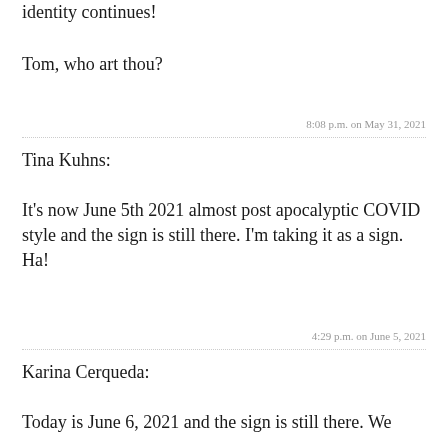identity continues!
Tom, who art thou?
8:08 p.m. on May 31, 2021
Tina Kuhns:
It's now June 5th 2021 almost post apocalyptic COVID style and the sign is still there. I'm taking it as a sign. Ha!
4:29 p.m. on June 5, 2021
Karina Cerqueda:
Today is June 6, 2021 and the sign is still there. We